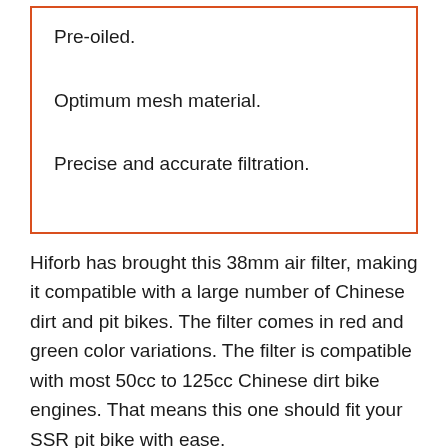Pre-oiled.
Optimum mesh material.
Precise and accurate filtration.
Hiforb has brought this 38mm air filter, making it compatible with a large number of Chinese dirt and pit bikes. The filter comes in red and green color variations. The filter is compatible with most 50cc to 125cc Chinese dirt bike engines. That means this one should fit your SSR pit bike with ease.